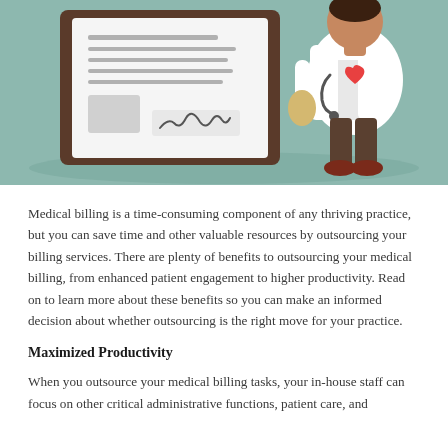[Figure (illustration): Illustration showing a medical document/clipboard with lines of text and a signature, alongside a doctor figure wearing a white coat with a stethoscope and a heart symbol, set against a teal/green background with a shadow ellipse on the ground.]
Medical billing is a time-consuming component of any thriving practice, but you can save time and other valuable resources by outsourcing your billing services. There are plenty of benefits to outsourcing your medical billing, from enhanced patient engagement to higher productivity. Read on to learn more about these benefits so you can make an informed decision about whether outsourcing is the right move for your practice.
Maximized Productivity
When you outsource your medical billing tasks, your in-house staff can focus on other critical administrative functions, patient care, and